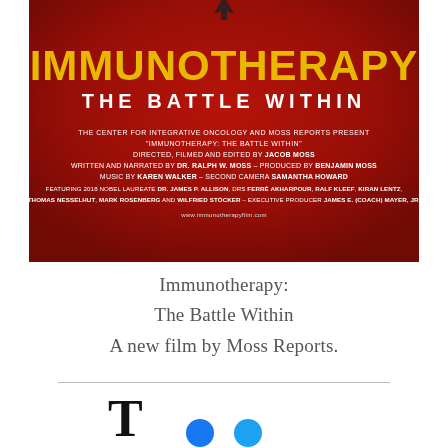[Figure (photo): Movie poster for 'Immunotherapy: The Battle Within'. Red background with yellow bold title text 'IMMUNOTHERAPY' and white subtitle 'THE BATTLE WITHIN'. Credits below including The Center for Integrative Oncology and Moss Reports, directed by Jacob Moss, written and narrated by Dr. Ralph W. Moss, produced by Benjamin Moss, music by Karen Walker, second camera Samantha Howard, featuring 2018 Nobel Laureate Dr. James P. Allison and others. Executive Producer James E. (Coach) Mayer Jr.]
Immunotherapy:
The Battle Within
A new film by Moss Reports.
T